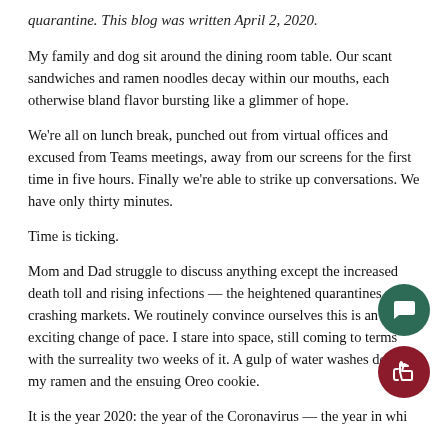quarantine. This blog was written April 2, 2020.
My family and dog sit around the dining room table. Our scant sandwiches and ramen noodles decay within our mouths, each otherwise bland flavor bursting like a glimmer of hope.
We're all on lunch break, punched out from virtual offices and excused from Teams meetings, away from our screens for the first time in five hours. Finally we're able to strike up conversations. We have only thirty minutes.
Time is ticking.
Mom and Dad struggle to discuss anything except the increased death toll and rising infections — the heightened quarantines and crashing markets. We routinely convince ourselves this is an exciting change of pace. I stare into space, still coming to terms with the surreality two weeks of it. A gulp of water washes down my ramen and the ensuing Oreo cookie.
It is the year 2020: the year of the Coronavirus — the year in whi...